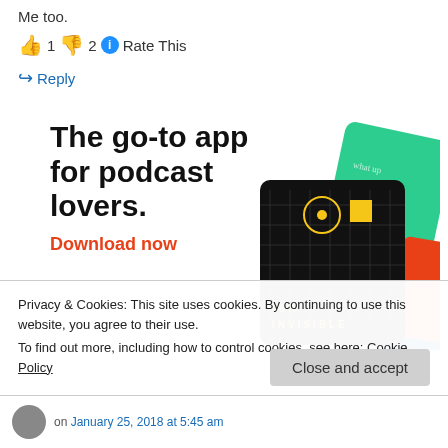Me too.
👍 1 👎 2 ℹ Rate This
↪ Reply
[Figure (infographic): Advertisement banner for a podcast app. Text reads: 'The go-to app for podcast lovers.' with 'Download now' in red. Right side shows stylized podcast app cards including a 99% Invisible card (black with yellow square) and a green card.]
Privacy & Cookies: This site uses cookies. By continuing to use this website, you agree to their use.
To find out more, including how to control cookies, see here: Cookie Policy
on January 25, 2018 at 5:45 am